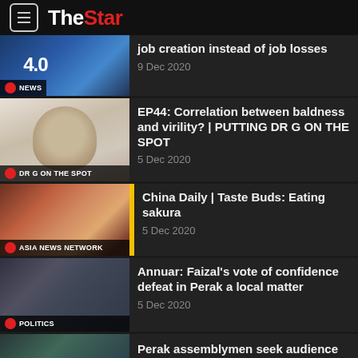The Star
job creation instead of job losses
9 Dec 2020
EP44: Correlation between baldness and virility? | PUTTING DR G ON THE SPOT
5 Dec 2020
China Daily | Taste Buds: Eating sakura
5 Dec 2020
Annuar: Faizal's vote of confidence defeat in Perak a local matter
5 Dec 2020
Perak assemblymen seek audience